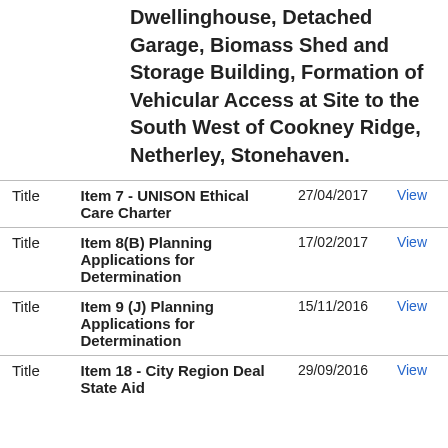Dwellinghouse, Detached Garage, Biomass Shed and Storage Building, Formation of Vehicular Access at Site to the South West of Cookney Ridge, Netherley, Stonehaven.
|  | Title | Date |  |
| --- | --- | --- | --- |
| Title | Item 7 - UNISON Ethical Care Charter | 27/04/2017 | View |
| Title | Item 8(B) Planning Applications for Determination | 17/02/2017 | View |
| Title | Item 9 (J) Planning Applications for Determination | 15/11/2016 | View |
| Title | Item 18 - City Region Deal State Aid | 29/09/2016 | View |